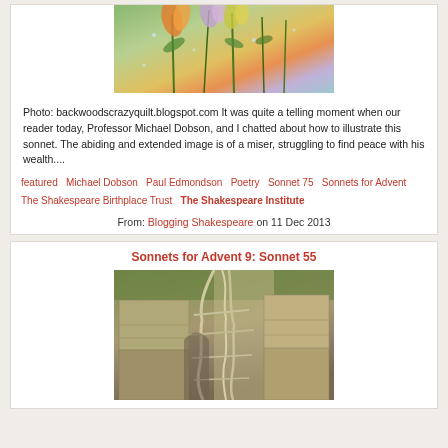[Figure (photo): Photo of flowers with raindrops, colorful orange, pink and green plants]
Photo: backwoodscrazyquilt.blogspot.com It was quite a telling moment when our reader today, Professor Michael Dobson, and I chatted about how to illustrate this sonnet. The abiding and extended image is of a miser, struggling to find peace with his wealth....
featured  Michael Dobson  Paul Edmondson  Poetry  Sonnet 75  Sonnets for Advent  The Shakespeare Birthplace Trust  The Shakespeare Institute
From: Blogging Shakespeare on 11 Dec 2013
Sonnets for Advent 9: Sonnet 55
[Figure (photo): Photo of ancient ruins with tree roots growing over stone structures, resembling Angkor Wat]